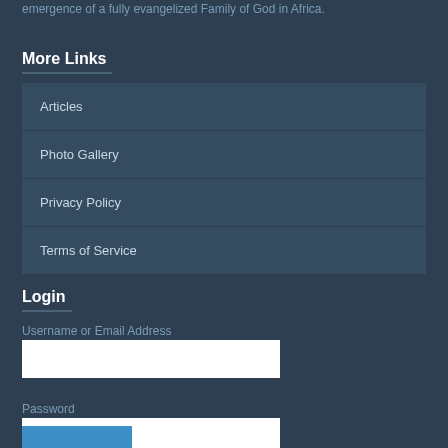emergence of a fully evangelized Family of God in Africa.
More Links
Articles
Photo Gallery
Privacy Policy
Terms of Service
Login
Username or Email Address
Password